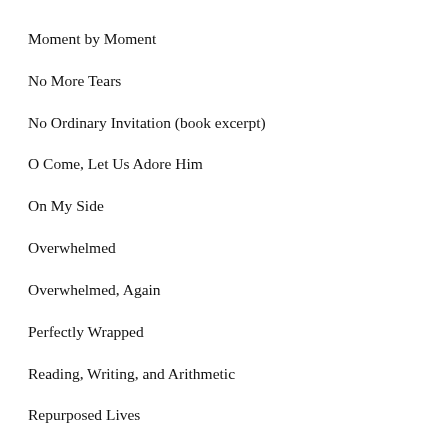Moment by Moment
No More Tears
No Ordinary Invitation (book excerpt)
O Come, Let Us Adore Him
On My Side
Overwhelmed
Overwhelmed, Again
Perfectly Wrapped
Reading, Writing, and Arithmetic
Repurposed Lives